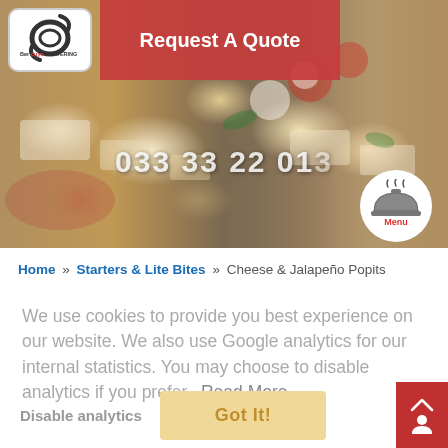[Figure (photo): Hero banner with cheese and charcuterie board food photography background]
[Figure (logo): Bercuys Catering logo in white rounded box, top left]
Request A Quote
033 33 22 01 3
[Figure (illustration): Menu cloche icon with steam lines, circular background]
Home » Starters & Lite Bites » Cheese & Jalapeño Popits
We use cookies to provide you best experience on our website. We also use Google analytics for our internal statistics. You may choose to disable analytics if you prefer.  Read More
Disable analytics
Got It!